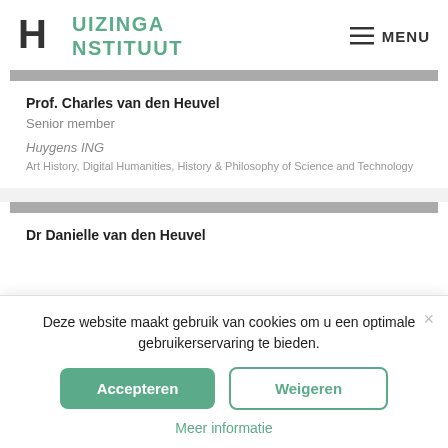[Figure (logo): Huizinga Instituut logo with stylized H and teal text]
MENU
Prof. Charles van den Heuvel
Senior member
Huygens ING
Art History, Digital Humanities, History & Philosophy of Science and Technology
Dr Danielle van den Heuvel
Deze website maakt gebruik van cookies om u een optimale gebruikerservaring te bieden.
Accepteren
Weigeren
Meer informatie